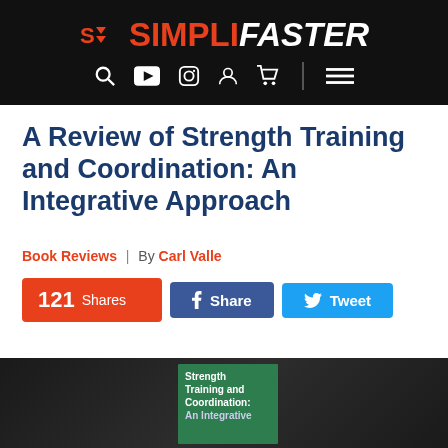SIMPLIFASTER
A Review of Strength Training and Coordination: An Integrative Approach
Book Reviews | By Carl Valle
121 Shares  Share  Tweet
[Figure (photo): Book cover of 'Strength Training and Coordination: An Integrative Approach' shown against a dark background]